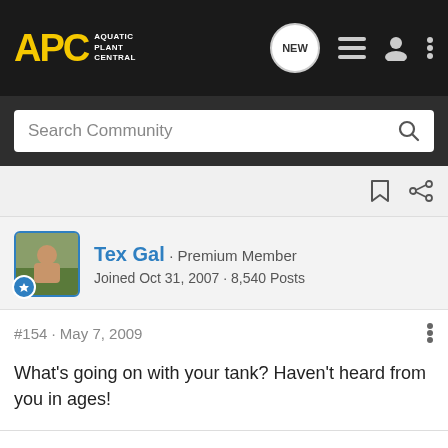APC Aquatic Plant Central
Search Community
Tex Gal · Premium Member
Joined Oct 31, 2007 · 8,540 Posts
#154 · May 7, 2009
What's going on with your tank? Haven't heard from you in ages!